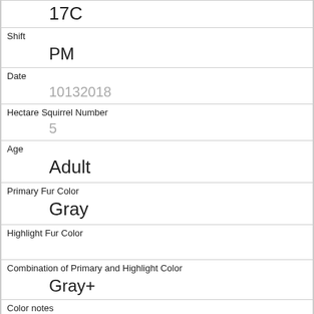17C
Shift
PM
Date
10132018
Hectare Squirrel Number
5
Age
Adult
Primary Fur Color
Gray
Highlight Fur Color
Combination of Primary and Highlight Color
Gray+
Color notes
Location
Ground Plane
Above Ground Sighter Measurement
FALSE